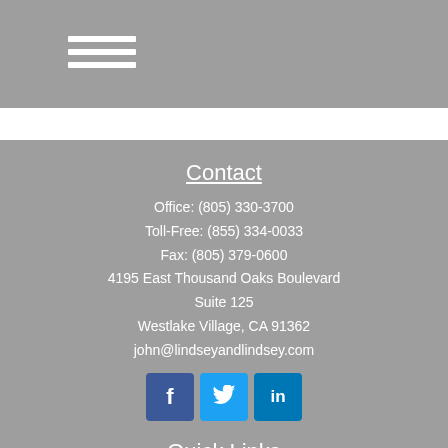[Figure (other): Hamburger menu icon with three white horizontal bars on gray background]
Contact
Office: (805) 330-3700
Toll-Free: (855) 334-0033
Fax: (805) 379-0600
4195 East Thousand Oaks Boulevard
Suite 125
Westlake Village, CA 91362
john@lindseyandlindsey.com
[Figure (other): Social media icons: Facebook, Twitter, LinkedIn]
Quick Links
Retirement
Investment
Estate
Insurance